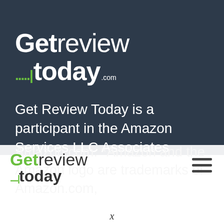[Figure (logo): GetReviewToday.com logo in white on dark background with green dot-pattern accent]
Get Review Today is a participant in the Amazon Services LLC Associates Program, an affiliate advertising program designed to provide a means for sites to earn advertising fees by advertising and linking to Amazon.com. *Amazon and the Amazon logo are trademarks of Amazon.com,
[Figure (logo): GetReview Today navigation logo in green and dark grey with hamburger menu icon]